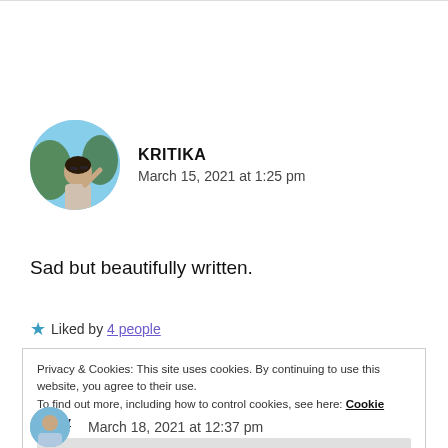[Figure (photo): Circular avatar photo of user Kritika, showing a person looking upward against a blue sky with trees]
KRITIKA
March 15, 2021 at 1:25 pm
Sad but beautifully written.
★ Liked by 4 people
Privacy & Cookies: This site uses cookies. By continuing to use this website, you agree to their use.
To find out more, including how to control cookies, see here: Cookie Policy
Close and accept
March 18, 2021 at 12:37 pm